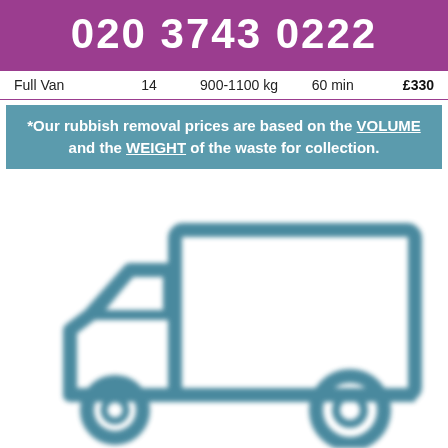020 3743 0222
| Full Van | 14 | 900-1100 kg | 60 min | £330 |
| --- | --- | --- | --- | --- |
*Our rubbish removal prices are based on the VOLUME and the WEIGHT of the waste for collection.
[Figure (illustration): Icon/illustration of a large delivery van (lorry/truck) shown in teal/blue outline style, partially blurred, on a white background.]